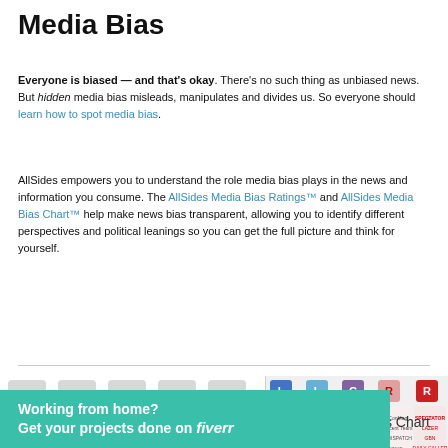Media Bias
Everyone is biased — and that's okay. There's no such thing as unbiased news. But hidden media bias misleads, manipulates and divides us. So everyone should learn how to spot media bias.
AllSides empowers you to understand the role media bias plays in the news and information you consume. The AllSides Media Bias Ratings™ and AllSides Media Bias Chart™ help make news bias transparent, allowing you to identify different perspectives and political leanings so you can get the full picture and think for yourself.
[Figure (infographic): AllSides media bias rating grid showing L, L, C, R, R letter tiles in a 3x3 grid pattern, with bottom-left L tile highlighted in blue and bottom-right R tile in red]
[Figure (infographic): AllSides Media Bias Chart showing various news outlet logos arranged by political leaning from left to right with L and R indicators at top]
Bias Chart
Working from home? Get your projects done on fiverr